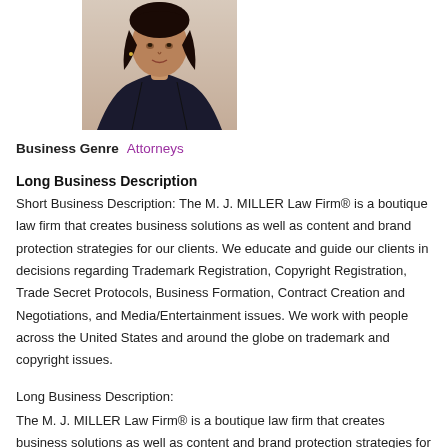[Figure (photo): Professional headshot photo of a woman with braided hair wearing a dark jacket]
Business Genre  Attorneys
Long Business Description
Short Business Description: The M. J. MILLER Law Firm® is a boutique law firm that creates business solutions as well as content and brand protection strategies for our clients. We educate and guide our clients in decisions regarding Trademark Registration, Copyright Registration, Trade Secret Protocols, Business Formation, Contract Creation and Negotiations, and Media/Entertainment issues. We work with people across the United States and around the globe on trademark and copyright issues.
Long Business Description:
The M. J. MILLER Law Firm® is a boutique law firm that creates business solutions as well as content and brand protection strategies for our clients. We educate and guide our clients in